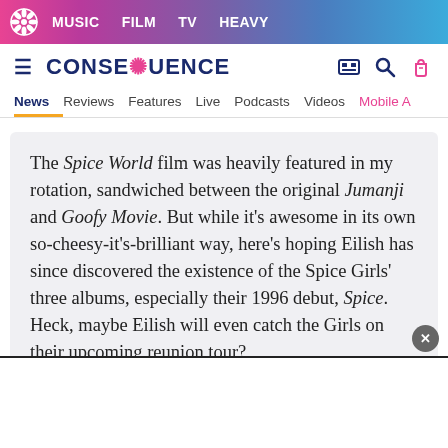MUSIC  FILM  TV  HEAVY
CONSEQUENCE
News  Reviews  Features  Live  Podcasts  Videos  Mobile A
The Spice World film was heavily featured in my rotation, sandwiched between the original Jumanji and Goofy Movie. But while it's awesome in its own so-cheesy-it's-brilliant way, here's hoping Eilish has since discovered the existence of the Spice Girls' three albums, especially their 1996 debut, Spice. Heck, maybe Eilish will even catch the Girls on their upcoming reunion tour?